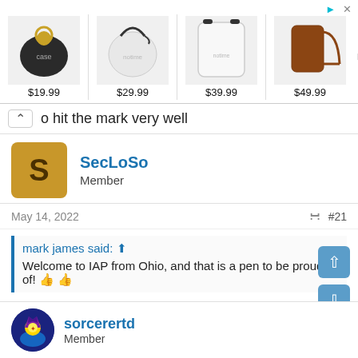[Figure (screenshot): Advertisement banner showing 4 products with prices: $19.99 (black AirPod case with gold keyring), $29.99 (white round coin purse), $39.99 (white rectangular case), $49.99 (brown phone case with strap). NOEMIE brand logo. Arrow and X buttons top right.]
o hit the mark very well
SecLoSo
Member
May 14, 2022
#21
mark james said: ⊕
Welcome to IAP from Ohio, and that is a pen to be proud of! 👍 👍
Wow thank you!!! Question what is the IAP collection you curate?
sorcerertd
Member